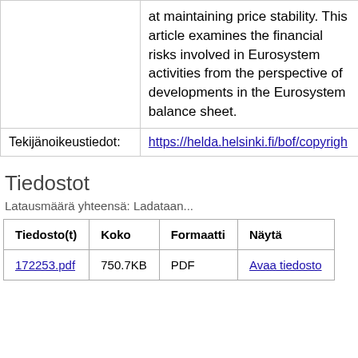|  |  |
| --- | --- |
|  | at maintaining price stability. This article examines the financial risks involved in Eurosystem activities from the perspective of developments in the Eurosystem balance sheet. |
| Tekijänoikeustiedot: | https://helda.helsinki.fi/bof/copyright |
Tiedostot
Latausmäärä yhteensä: Ladataan...
| Tiedosto(t) | Koko | Formaatti | Näytä |
| --- | --- | --- | --- |
| 172253.pdf | 750.7KB | PDF | Avaa tiedosto |